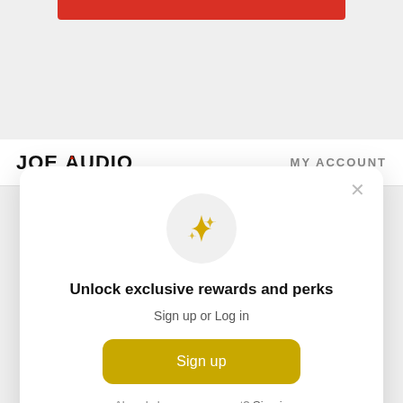[Figure (logo): Joe Audio logo with red arrow accent and MY ACCOUNT nav text]
[Figure (illustration): Modal dialog with sparkle icon, unlock exclusive rewards and perks headline, sign up or log in subtext, Sign up button, and Already have an account? Sign in link]